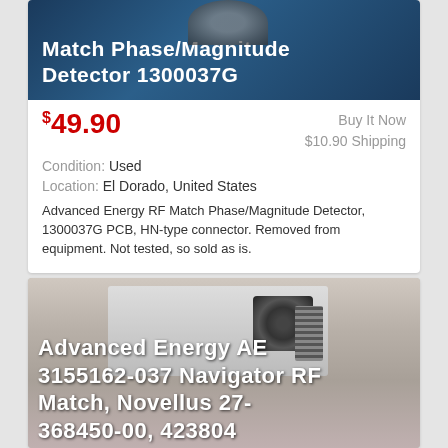[Figure (photo): Dark blue background with connector hardware visible at top, product listing image for Advanced Energy RF Match Phase/Magnitude Detector]
Match Phase/Magnitude Detector 1300037G
$49.90
Buy It Now
$10.90 Shipping
Condition: Used
Location: El Dorado, United States
Advanced Energy RF Match Phase/Magnitude Detector, 1300037G PCB, HN-type connector. Removed from equipment. Not tested, so sold as is.
[Figure (photo): Photo of Advanced Energy AE 3155162-037 Navigator RF Match unit with fan on top, Novellus 27-368450-00, 423804]
Advanced Energy AE 3155162-037 Navigator RF Match, Novellus 27-368450-00, 423804